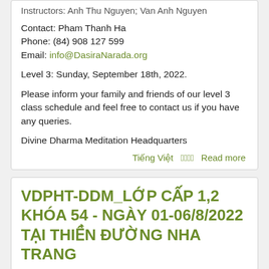Instructors: Anh Thu Nguyen; Van Anh Nguyen
Contact: Pham Thanh Ha
Phone: (84) 908 127 599
Email: info@DasiraNarada.org
Level 3: Sunday, September 18th, 2022.
Please inform your family and friends of our level 3 class schedule and feel free to contact us if you have any queries.
Divine Dharma Meditation Headquarters
Tiếng Việt  𑁦𑁦𑁦𑁦  Read more
VDPHT-DDM_LỚP CẤP 1,2 KHÓA 54 - NGÀY 01-06/8/2022 TẠI THIỀN ĐƯỜNG NHA TRANG